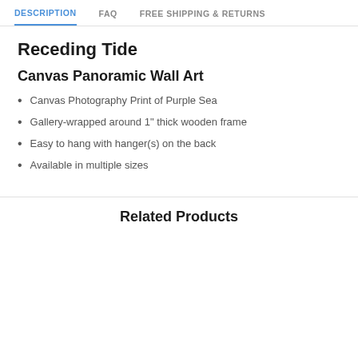DESCRIPTION | FAQ | FREE SHIPPING & RETURNS
Receding Tide
Canvas Panoramic Wall Art
Canvas Photography Print of Purple Sea
Gallery-wrapped around 1" thick wooden frame
Easy to hang with hanger(s) on the back
Available in multiple sizes
Related Products